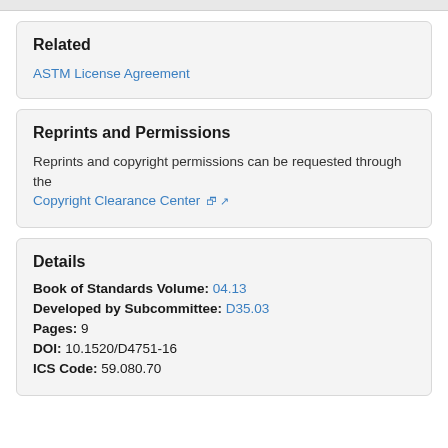Related
ASTM License Agreement
Reprints and Permissions
Reprints and copyright permissions can be requested through the Copyright Clearance Center
Details
Book of Standards Volume: 04.13
Developed by Subcommittee: D35.03
Pages: 9
DOI: 10.1520/D4751-16
ICS Code: 59.080.70